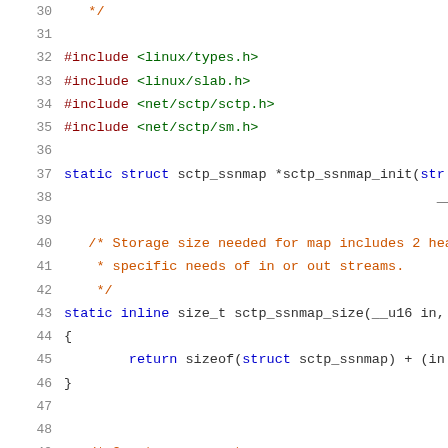Code listing lines 30-51, C source file showing sctp_ssnmap_init and sctp_ssnmap_size functions with includes for linux/types.h, linux/slab.h, net/sctp/sctp.h, net/sctp/sm.h